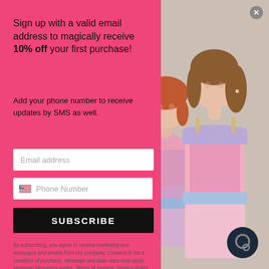[Figure (photo): Two girls wearing floral summer dresses (one in pink/blue color block, one in peach/purple floral) posing together against a light gray background.]
Sign up with a valid email address to magically receive 10% off your first purchase!
Add your phone number to receive updates by SMS as well.
Email address
Phone Number
SUBSCRIBE
By subscribing, you agree to receive marketing text messages and emails from our company. Consent is not a condition of purchase. Message and data rates may apply. Message frequency varies. Terms of Service. Privacy Policy.